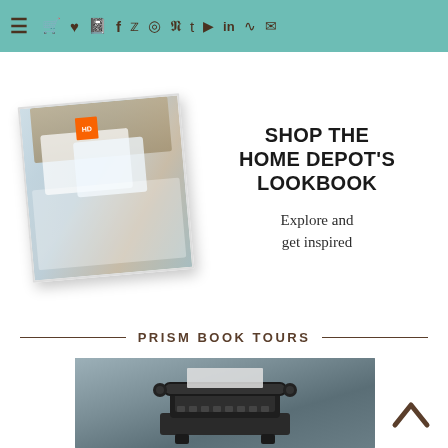[Figure (screenshot): Website navigation bar with teal/mint background, hamburger menu icon on the left, and social/utility icons (cart, heart, book, Facebook, Twitter, Instagram, Pinterest, Tumblr, YouTube, LinkedIn, RSS, email) in brown/dark color]
[Figure (infographic): Advertisement for Shop The Home Depot's Lookbook with a tilted photo of bedding/pillows on the left and bold text 'SHOP THE HOME DEPOT'S LOOKBOOK' with subtext 'Explore and get inspired' on the right]
PRISM BOOK TOURS
[Figure (photo): Grayscale/vintage-toned photograph of an old typewriter on a dark gray background]